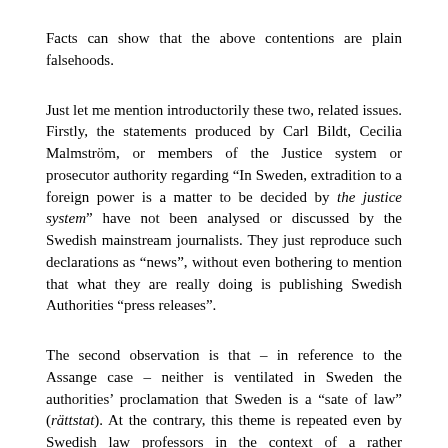Facts can show that the above contentions are plain falsehoods.
Just let me mention introductorily these two, related issues. Firstly, the statements produced by Carl Bildt, Cecilia Malmström, or members of the Justice system or prosecutor authority regarding “In Sweden, extradition to a foreign power is a matter to be decided by the justice system” have not been analysed or discussed by the Swedish mainstream journalists. They just reproduce such declarations as “news”, without even bothering to mention that what they are really doing is publishing Swedish Authorities “press releases”.
The second observation is that – in reference to the Assange case – neither is ventilated in Sweden the authorities’ proclamation that Sweden is a “sate of law” (rättstat). At the contrary, this theme is repeated even by Swedish law professors in the context of a rather chauvinistic defence of Sweden. This in spite several reports by the Swedish media